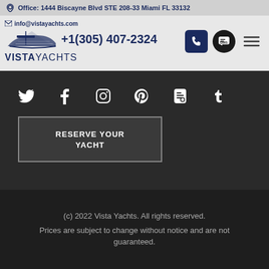Office: 1444 Biscayne Blvd STE 208-33 Miami FL 33132
[Figure (logo): Vista Yachts logo with yacht illustration and text VISTAYACHTS, email icon, phone icon, SMS icon, and hamburger menu icon. Phone: +1(305) 407-2324]
[Figure (infographic): Social media icons row: Twitter, Facebook, Instagram, Pinterest, Blogger, Tumblr on dark background]
RESERVE YOUR YACHT
(c) 2022 Vista Yachts. All rights reserved. Prices are subject to change without notice and are not guaranteed.